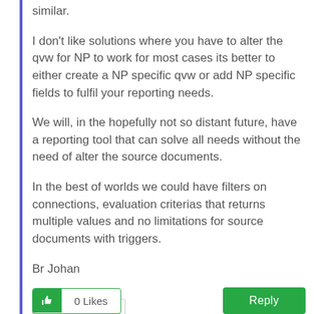similar.
I don't like solutions where you have to alter the qvw for NP to work for most cases its better to either create a NP specific qvw or add NP specific fields to fulfil your reporting needs.
We will, in the hopefully not so distant future, have a reporting tool that can solve all needs without the need of alter the source documents.
In the best of worlds we could have filters on connections, evaluation criterias that returns multiple values and no limitations for source documents with triggers.
Br Johan
494 Views
0 Likes
Reply